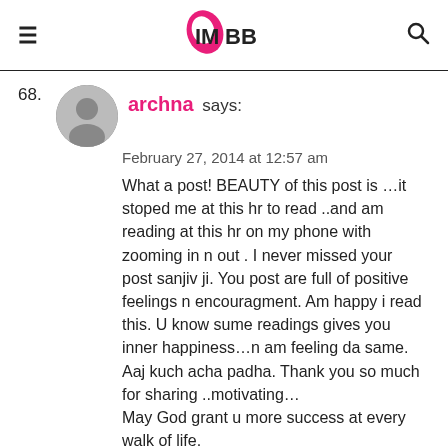IMBB (logo)
68. archna says:
February 27, 2014 at 12:57 am
What a post! BEAUTY of this post is …it stoped me at this hr to read ..and am reading at this hr on my phone with zooming in n out . I never missed your post sanjiv ji. You post are full of positive feelings n encouragment. Am happy i read this. U know sume readings gives you inner happiness…n am feeling da same.
Aaj kuch acha padha. Thank you so much for sharing ..motivating…
May God grant u more success at every walk of life.
Reply